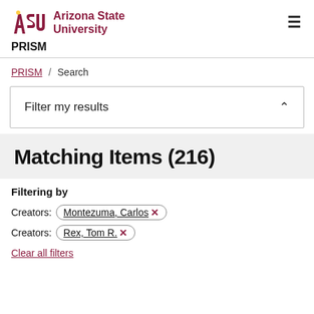[Figure (logo): Arizona State University logo with gold and maroon ASU mark and maroon text 'Arizona State University']
PRISM
PRISM / Search
Filter my results
Matching Items (216)
Filtering by
Creators: Montezuma, Carlos ✕
Creators: Rex, Tom R. ✕
Clear all filters